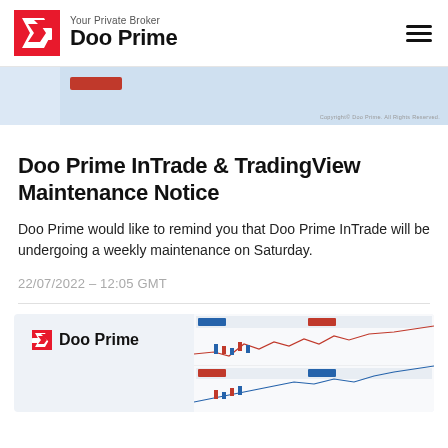Your Private Broker Doo Prime
[Figure (screenshot): Top partial screenshot of Doo Prime InTrade platform with copyright notice 'Copyright© Doo Prime. All Rights Reserved.']
Doo Prime InTrade & TradingView Maintenance Notice
Doo Prime would like to remind you that Doo Prime InTrade will be undergoing a weekly maintenance on Saturday.
22/07/2022 – 12:05 GMT
[Figure (screenshot): Partial screenshot of Doo Prime TradingView trading platform showing charts with red and blue candlestick patterns and price lines.]